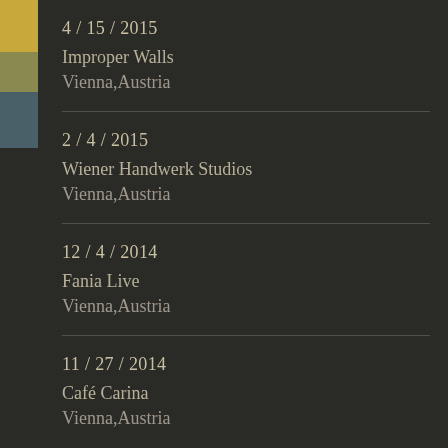4 / 15 / 2015
Improper Walls
Vienna,Austria
2 / 4 / 2015
Wiener Handwerk Studios
Vienna,Austria
12 / 4 / 2014
Fania Live
Vienna,Austria
11 / 27 / 2014
Café Carina
Vienna,Austria